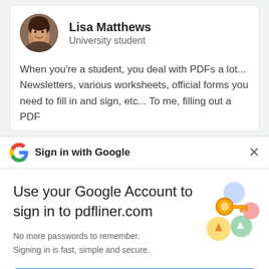[Figure (screenshot): Partially visible top card with profile photo of Lisa Matthews and testimonial text about PDFs]
Lisa Matthews
University student
When you’re a student, you deal with PDFs a lot... Newsletters, various worksheets, official forms you need to fill in and sign, etc... To me, filling out a PDF
Sign in with Google
Use your Google Account to sign in to pdfliner.com
No more passwords to remember. Signing in is fast, simple and secure.
Continue